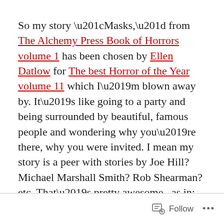So my story “Masks,” from The Alchemy Press Book of Horrors volume 1 has been chosen by Ellen Datlow for The best Horror of the Year volume 11 which I’m blown away by. It’s like going to a party and being surrounded by beautiful, famous people and wondering why you’re there, why you were invited. I mean my story is a peer with stories by Joe Hill? Michael Marshall Smith? Rob Shearman? etc. That’s pretty awesome, as in: adjective. causing or inducing awe; inspiring an overwhelming feeling of reverence, admiration, or fear.
Follow ...